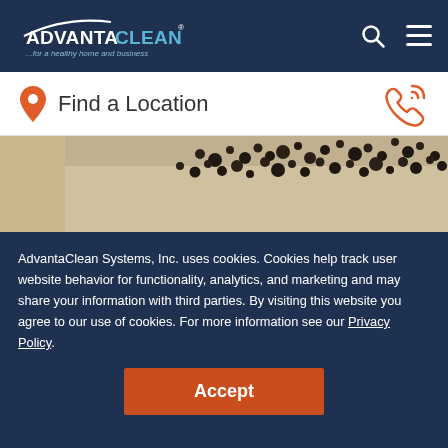AdvantaClean ...for a healthy home and business
Find a Location
[Figure (photo): Close-up photo of a ceiling corner covered in black mold spots, with white curtains or fabric below]
AdvantaClean Systems, Inc. uses cookies. Cookies help track user website behavior for functionality, analytics, and marketing and may share your information with third parties. By visiting this website you agree to our use of cookies. For more information see our Privacy Policy.
Accept